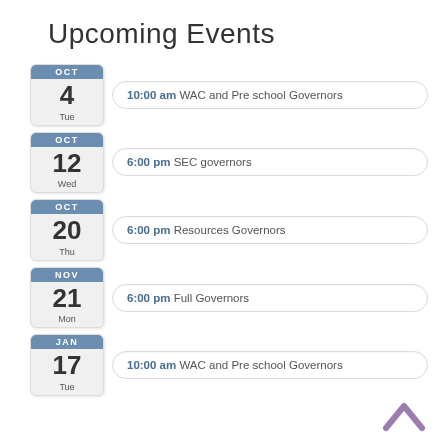Upcoming Events
OCT 4 Tue — 10:00 am WAC and Pre school Governors
OCT 12 Wed — 6:00 pm SEC governors
OCT 20 Thu — 6:00 pm Resources Governors
NOV 21 Mon — 6:00 pm Full Governors
JAN 17 Tue — 10:00 am WAC and Pre school Governors